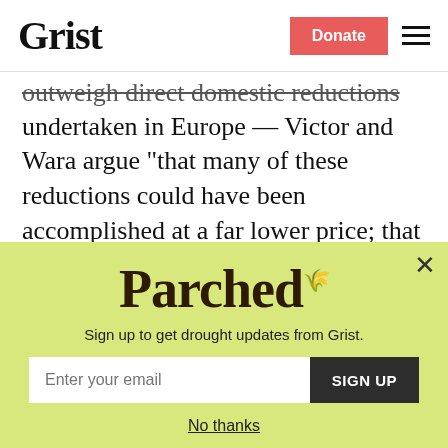Grist | Donate
outweigh direct domestic reductions undertaken in Europe — Victor and Wara argue "that many of these reductions could have been accomplished at a far lower price; that many credits are probably not backed by real reductions; and that the promise of such a massive supply of credits is extremely unlikely if even the current
[Figure (screenshot): Parched newsletter signup popup with yellow-green background. Title: 'Parched'. Subtitle: 'Sign up to get drought updates from Grist.' Email input field with placeholder 'Enter your email' and a dark 'SIGN UP' button. 'No thanks' link below.]